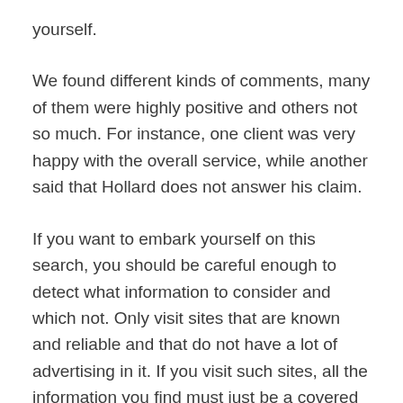yourself.
We found different kinds of comments, many of them were highly positive and others not so much. For instance, one client was very happy with the overall service, while another said that Hollard does not answer his claim.
If you want to embark yourself on this search, you should be careful enough to detect what information to consider and which not. Only visit sites that are known and reliable and that do not have a lot of advertising in it. If you visit such sites, all the information you find must just be a covered ad.
This is why you need to take these comments very